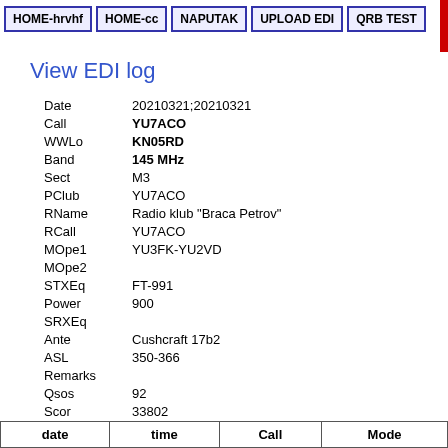HOME-hrvhf | HOME-cc | NAPUTAK | UPLOAD EDI | QRB TEST
View EDI log
| Field | Value |
| --- | --- |
| Date | 20210321;20210321 |
| Call | YU7ACO |
| WWLo | KN05RD |
| Band | 145 MHz |
| Sect | M3 |
| PClub | YU7ACO |
| RName | Radio klub "Braca Petrov" |
| RCall | YU7ACO |
| MOpe1 | YU3FK-YU2VD |
| MOpe2 |  |
| STXEq | FT-991 |
| Power | 900 |
| SRXEq |  |
| Ante | Cushcraft 17b2 |
| ASL | 350-366 |
| Remarks |  |
| Qsos | 92 |
| Scor | 33802 |
| date | time | Call | Mode |
| --- | --- | --- | --- |